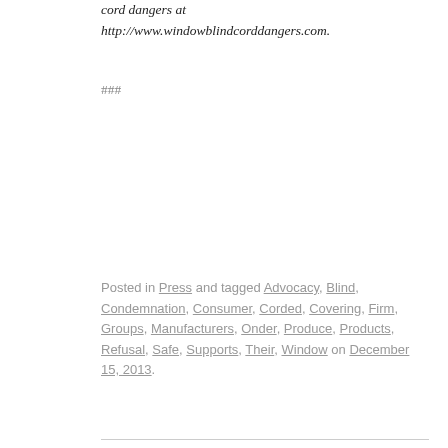cord dangers at http://www.windowblindcorddangers.com.
###
Posted in Press and tagged Advocacy, Blind, Condemnation, Consumer, Corded, Covering, Firm, Groups, Manufacturers, Onder, Produce, Products, Refusal, Safe, Supports, Their, Window on December 15, 2013.